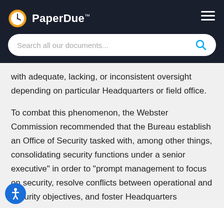PaperDue™
with adequate, lacking, or inconsistent oversight depending on particular Headquarters or field office.
To combat this phenomenon, the Webster Commission recommended that the Bureau establish an Office of Security tasked with, among other things, consolidating security functions under a senior executive" in order to "prompt management to focus on security, resolve conflicts between operational and security objectives, and foster Headquarters